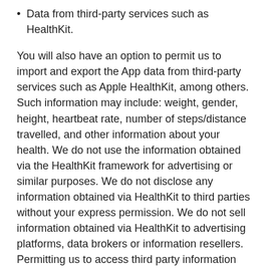Data from third-party services such as HealthKit.
You will also have an option to permit us to import and export the App data from third-party services such as Apple HealthKit, among others. Such information may include: weight, gender, height, heartbeat rate, number of steps/distance travelled, and other information about your health. We do not use the information obtained via the HealthKit framework for advertising or similar purposes. We do not disclose any information obtained via HealthKit to third parties without your express permission. We do not sell information obtained via HealthKit to advertising platforms, data brokers or information resellers. Permitting us to access third party information can help you to maximize your App experience.